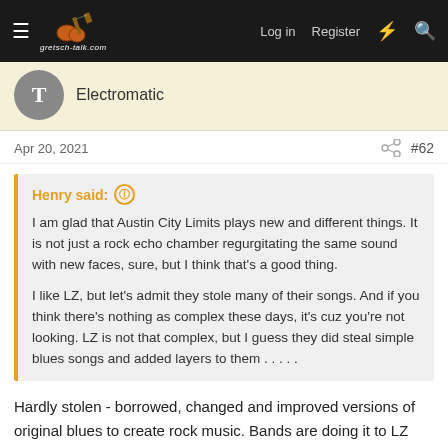gretsch-talk.com | Log in | Register
Electromatic
Apr 20, 2021  #62
Henry said: ⓘ
I am glad that Austin City Limits plays new and different things. It is not just a rock echo chamber regurgitating the same sound with new faces, sure, but I think that's a good thing.

I like LZ, but let's admit they stole many of their songs. And if you think there's nothing as complex these days, it's cuz you're not looking. LZ is not that complex, but I guess they did steal simple blues songs and added layers to them . . . . .
Hardly stolen - borrowed, changed and improved versions of original blues to create rock music. Bands are doing it to LZ now. The original stuff is there too, I believe the whole Physical Graffiti album is original......
Give them some credit.